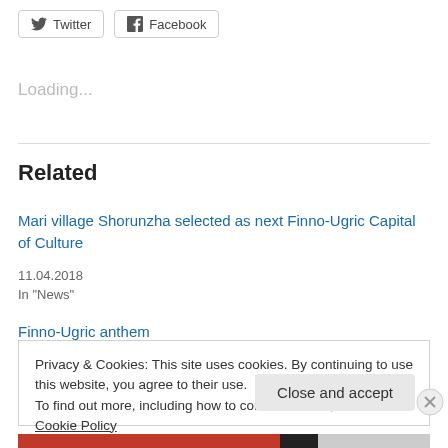Twitter  Facebook
Loading...
Related
Mari village Shorunzha selected as next Finno-Ugric Capital of Culture
11.04.2018
In "News"
Finno-Ugric anthem
Privacy & Cookies: This site uses cookies. By continuing to use this website, you agree to their use.
To find out more, including how to control cookies, see here: Cookie Policy
Close and accept